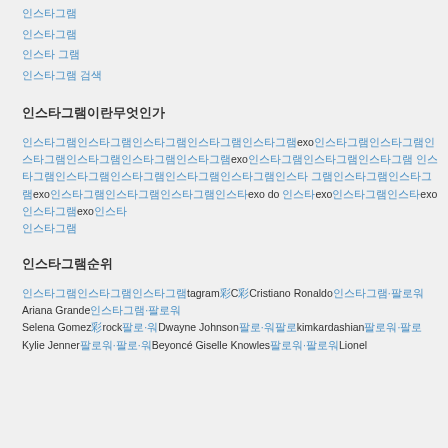인스타그램
인스타그램
인스타 그램
인스타그램 검색
인스타그램이란무엇인가
인스타그램인스타그램인스타그램인스타그램인스타그램exo인스타그램인스타그램인스타그램인스타그램인스타그램인스타그램exo인스타그램인스타그램인스타그램 인스타그램인스타그램인스타그램인스타그램인스타그램인스타 그램인스타그램인스타그램exo인스타그램인스타그램인스타그램인스타exo do 인스타exo인스타그램인스타exo 인스타그램exo인스타그램 인스타그램
인스타그램순위
인스타그램인스타그램인스타그램tagram彩C彩Cristiano Ronaldo인스타그램·팔로워Ariana Grande인스타그램·팔로워Selena Gomez彩rock팔로·워Dwayne Johnson팔로·워팔로kimkardashian팔로워·팔로Kylie Jenner팔로워·팔로·워Beyoncé Giselle Knowles팔로워·팔로워Lionel